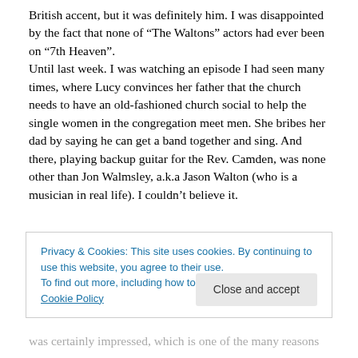British accent, but it was definitely him. I was disappointed by the fact that none of “The Waltons” actors had ever been on “7th Heaven”. Until last week. I was watching an episode I had seen many times, where Lucy convinces her father that the church needs to have an old-fashioned church social to help the single women in the congregation meet men. She bribes her dad by saying he can get a band together and sing. And there, playing backup guitar for the Rev. Camden, was none other than Jon Walmsley, a.k.a Jason Walton (who is a musician in real life). I couldn’t believe it.
Privacy & Cookies: This site uses cookies. By continuing to use this website, you agree to their use.
To find out more, including how to control cookies, see here: Cookie Policy
was certainly impressed, which is one of the many reasons